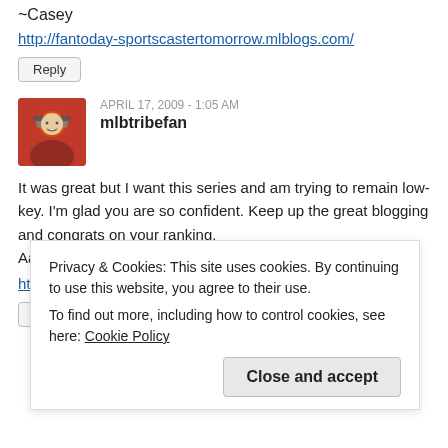~Casey
http://fantoday-sportscastertomorrow.mlblogs.com/
Reply
[Figure (photo): Avatar photo of mlbtribefan, a person wearing a red jacket and hat]
APRIL 17, 2009 - 1:05 AM
mlbtribefan
It was great but I want this series and am trying to remain low-key. I'm glad you are so confident. Keep up the great blogging and congrats on your ranking.
Aaron
http://mlbtribefan.mlblogs.com
Reply
Privacy & Cookies: This site uses cookies. By continuing to use this website, you agree to their use.
To find out more, including how to control cookies, see here: Cookie Policy
Close and accept